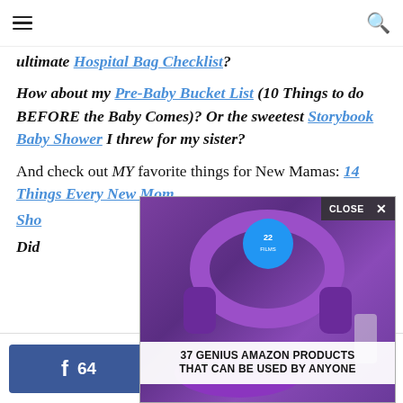navigation header with hamburger menu and search icon
ultimate Hospital Bag Checklist?
How about my Pre-Baby Bucket List (10 Things to do BEFORE the Baby Comes)? Or the sweetest Storybook Baby Shower I threw for my sister?
And check out MY favorite things for New Mamas: 14 Things Every New Mom Should... [partially obscured by ad]
Did... Mo... [partially obscured by ad]
[Figure (photo): Advertisement overlay showing purple headphones with text '37 GENIUS AMAZON PRODUCTS THAT CAN BE USED BY ANYONE' and a CLOSE button]
Facebook share 64 | Pinterest share 63 | < 127 SHARES